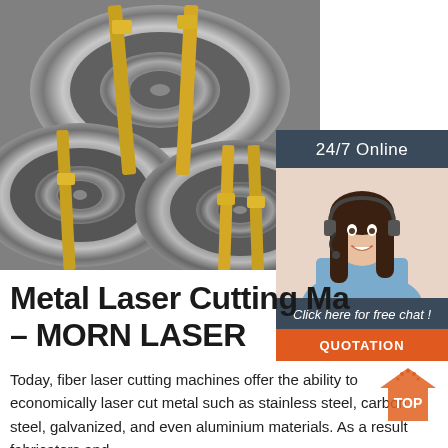[Figure (photo): Close-up photo of large steel coils/rolls bound with yellow straps, viewed from the front showing circular cross-sections]
[Figure (photo): Customer service agent - woman with headset smiling, in a 24/7 Online support panel with dark blue background, 'Click here for free chat!' text and orange QUOTATION button]
Metal Laser Cutting Ma… – MORN LASER
Today, fiber laser cutting machines offer the ability to economically laser cut metal such as stainless steel, carbon steel, galvanized, and even aluminium materials. As a result fabricators and…